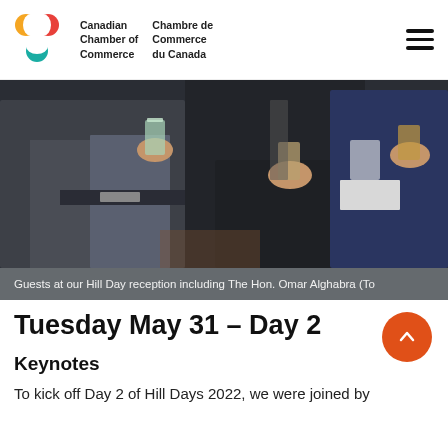Canadian Chamber of Commerce | Chambre de Commerce du Canada
[Figure (photo): People at a networking reception, holding drinks, wearing suits]
Guests at our Hill Day reception including The Hon. Omar Alghabra (To
Tuesday May 31 – Day 2
Keynotes
To kick off Day 2 of Hill Days 2022, we were joined by